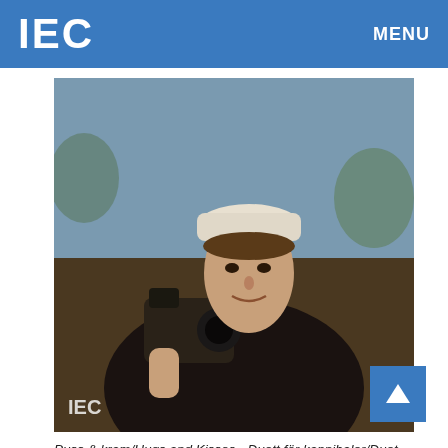IEC   MENU
[Figure (photo): Color photograph of a young man with a camera, wearing a white cap, outdoors. Watermark 'IEC' visible in lower left.]
Puss & kram/Hugs and Kisses - Duett för kannibaler/Duet for Cannibals - Äppelkriget/The Apple War - Ägget är löst!
>  CZESLAW SWIRTA [14 June 1925, Starachowice, Poland - 30 January 2008, Lódz, Poland]
[Figure (photo): Black and white photograph of an older man with short hair, facing camera. Watermark 'IEC' visible in upper right.]